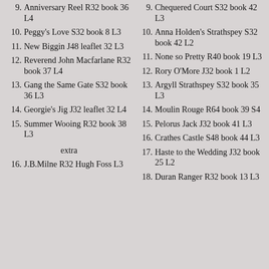9. Anniversary Reel R32 book 36 L4
10. Peggy's Love S32 book 8 L3
11. New Biggin J48 leaflet 32 L3
12. Reverend John Macfarlane R32 book 37 L4
13. Gang the Same Gate S32 book 36 L3
14. Georgie's Jig J32 leaflet 32 L4
15. Summer Wooing R32 book 38 L3
extra
16. J.B.Milne R32 Hugh Foss L3
9. Chequered Court S32 book 42 L3
10. Anna Holden's Strathspey S32 book 42 L2
11. None so Pretty R40 book 19 L3
12. Rory O'More J32 book 1 L2
13. Argyll Strathspey S32 book 35 L3
14. Moulin Rouge R64 book 39 S4
15. Pelorus Jack J32 book 41 L3
16. Crathes Castle S48 book 44 L3
17. Haste to the Wedding J32 book 25 L2
18. Duran Ranger R32 book 13 L3